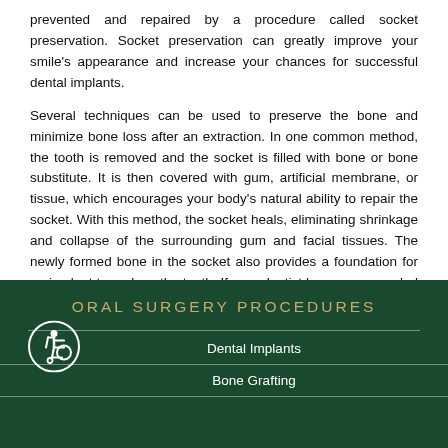prevented and repaired by a procedure called socket preservation. Socket preservation can greatly improve your smile's appearance and increase your chances for successful dental implants.
Several techniques can be used to preserve the bone and minimize bone loss after an extraction. In one common method, the tooth is removed and the socket is filled with bone or bone substitute. It is then covered with gum, artificial membrane, or tissue, which encourages your body's natural ability to repair the socket. With this method, the socket heals, eliminating shrinkage and collapse of the surrounding gum and facial tissues. The newly formed bone in the socket also provides a foundation for an implant to replace the tooth. If your dentist has recommended tooth removal, be sure to ask if socket preservation is necessary. This is particularly important if you are planning on replacing the front teeth.
ORAL SURGERY PROCEDURES
Dental Implants
Bone Grafting